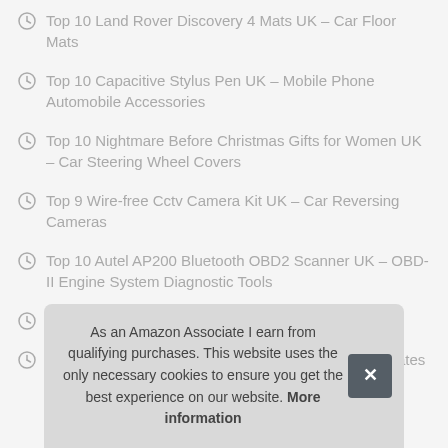Top 10 Land Rover Discovery 4 Mats UK – Car Floor Mats
Top 10 Capacitive Stylus Pen UK – Mobile Phone Automobile Accessories
Top 10 Nightmare Before Christmas Gifts for Women UK – Car Steering Wheel Covers
Top 9 Wire-free Cctv Camera Kit UK – Car Reversing Cameras
Top 10 Autel AP200 Bluetooth OBD2 Scanner UK – OBD-II Engine System Diagnostic Tools
Top 6 10/40 Fully Synthetic Oil UK – Car Engine Oils
Top 9 Dog Cage For Car Boot Safe UK – Dog Car Crates
As an Amazon Associate I earn from qualifying purchases. This website uses the only necessary cookies to ensure you get the best experience on our website. More information